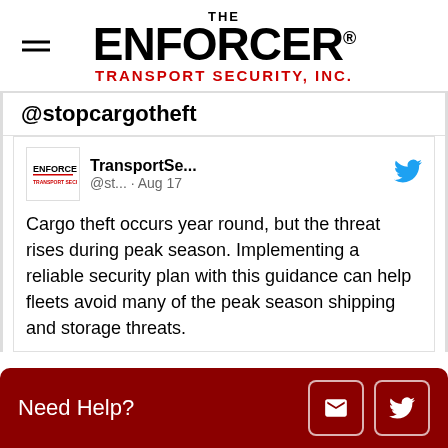[Figure (logo): The Enforcer Transport Security Inc. logo with hamburger menu icon on the left]
@stopcargotheft
[Figure (screenshot): Embedded tweet from TransportSe... @st... · Aug 17 with Enforcer logo. Text: Cargo theft occurs year round, but the threat rises during peak season. Implementing a reliable security plan with this guidance can help fleets avoid many of the peak season shipping and storage threats.]
Need Help?